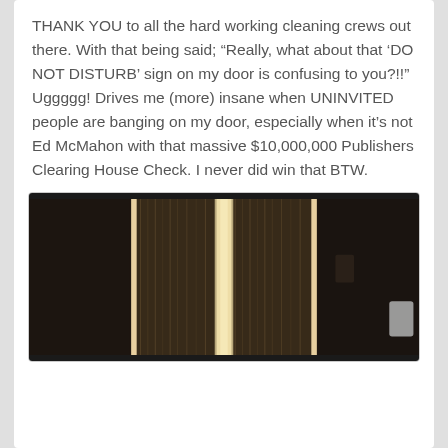THANK YOU to all the hard working cleaning crews out there. With that being said; “Really, what about that ‘DO NOT DISTURB’ sign on my door is confusing to you?!!”  Uggggg! Drives me (more) insane when UNINVITED people are banging on my door, especially when it’s not Ed McMahon with that massive $10,000,000 Publishers Clearing House Check. I never did win that BTW.
[Figure (photo): A dark hotel or bedroom interior showing two illuminated sheer curtains with light streaming through from behind, creating a bright vertical glow effect against a dark room background.]